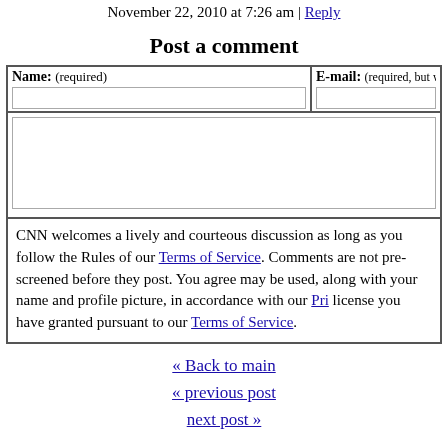November 22, 2010 at 7:26 am | Reply
Post a comment
Name: (required)   E-mail: (required, but will not be displayed)
CNN welcomes a lively and courteous discussion as long as you follow the Rules of Conduct set forth in our Terms of Service. Comments are not pre-screened before they post. You agree that anything you post may be used, along with your name and profile picture, in accordance with our Privacy Policy and the license you have granted pursuant to our Terms of Service.
« Back to main
« previous post
next post »
About This Show
World Report with Hala Gorani gives viewers an international...